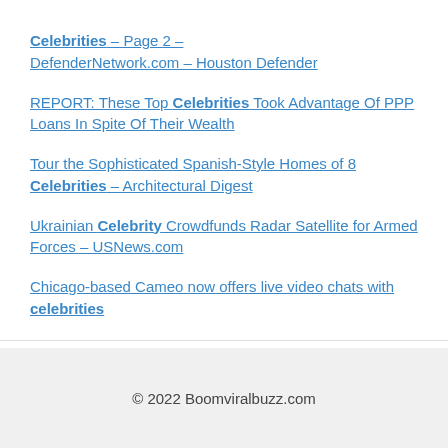Celebrities – Page 2 – DefenderNetwork.com – Houston Defender
REPORT: These Top Celebrities Took Advantage Of PPP Loans In Spite Of Their Wealth
Tour the Sophisticated Spanish-Style Homes of 8 Celebrities – Architectural Digest
Ukrainian Celebrity Crowdfunds Radar Satellite for Armed Forces – USNews.com
Chicago-based Cameo now offers live video chats with celebrities
© 2022 Boomviralbuzz.com